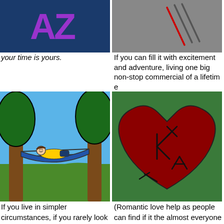[Figure (illustration): Illustration on dark blue background showing purple stylized 'AZ' letters]
[Figure (illustration): Illustration on gray background showing diagonal slash lines in red and gray]
your time is yours.
If you can fill it with excitement and adventure, living one big non-stop commercial of a lifetime
[Figure (illustration): Illustration of a person relaxing in a hammock between two trees, cartoon style, green grass and blue sky background]
[Figure (illustration): Illustration of a large dark red heart on green background with letters/initials carved into it]
If you live in simpler circumstances, if you rarely look beyond a night of tv, a few beers, a good book... that can be fine as well, so long as you can be fine
(Romantic love help as people can find if it the almost everyone will be it for some period in the